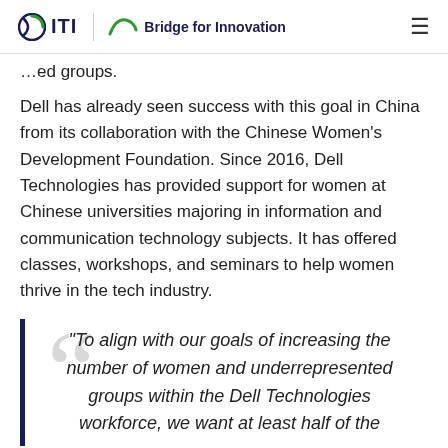ITI | Bridge for Innovation
…ed groups.
Dell has already seen success with this goal in China from its collaboration with the Chinese Women's Development Foundation. Since 2016, Dell Technologies has provided support for women at Chinese universities majoring in information and communication technology subjects. It has offered classes, workshops, and seminars to help women thrive in the tech industry.
“To align with our goals of increasing the number of women and underrepresented groups within the Dell Technologies workforce, we want at least half of the